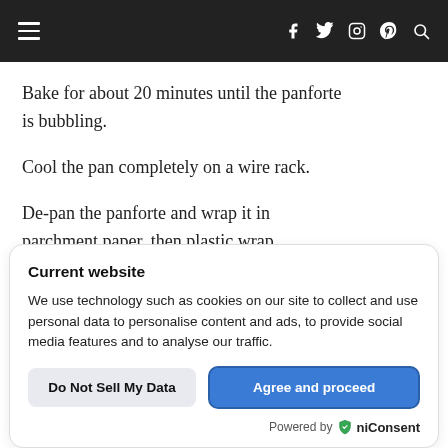≡   f  🐦  📷  𝗣  🔍
Bake for about 20 minutes until the panforte is bubbling.
Cool the pan completely on a wire rack.
De-pan the panforte and wrap it in parchment paper, then plastic wrap.
Current website
We use technology such as cookies on our site to collect and use personal data to personalise content and ads, to provide social media features and to analyse our traffic.
Do Not Sell My Data | Agree and proceed
Powered by 🛡 niConsent